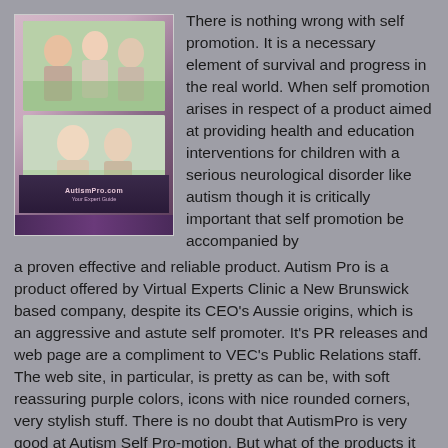[Figure (illustration): A product box for AutismPro, showing family photos on the front and a purple/dark color scheme with branding label.]
There is nothing wrong with self promotion. It is a necessary element of survival and progress in the real world. When self promotion arises in respect of a product aimed at providing health and education interventions for children with a serious neurological disorder like autism though it is critically important that self promotion be accompanied by a proven effective and reliable product. Autism Pro is a product offered by Virtual Experts Clinic a New Brunswick based company, despite its CEO's Aussie origins, which is an aggressive and astute self promoter. It's PR releases and web page are a compliment to VEC's Public Relations staff. The web site, in particular, is pretty as can be, with soft reassuring purple colors, icons with nice rounded corners, very stylish stuff. There is no doubt that AutismPro is very good at Autism Self Pro-motion. But what of the products it sells?
On that very important element the concerns that I have